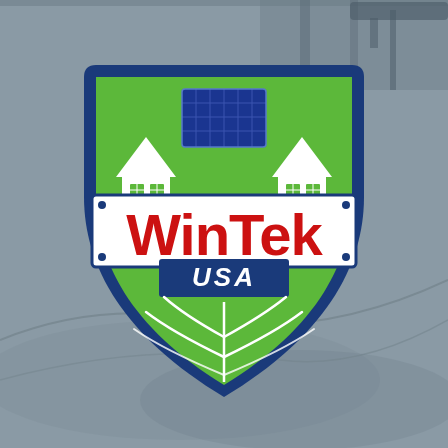[Figure (logo): WinTek USA company logo: a shield shape with blue border and green fill. Inside the shield are two white house silhouettes on either side, a blue solar panel in the center top, a horizontal banner with 'WinTek' in bold red text, 'USA' in white text on a blue background below the banner, and a white leaf/plant design in the lower portion of the shield. Background is a gray-toned blurred photo of a building/parking structure.]